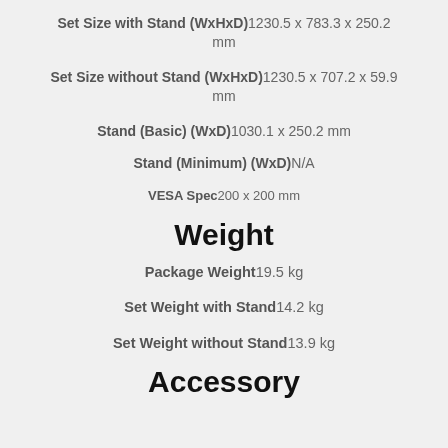Set Size with Stand (WxHxD) 1230.5 x 783.3 x 250.2 mm
Set Size without Stand (WxHxD) 1230.5 x 707.2 x 59.9 mm
Stand (Basic) (WxD) 1030.1 x 250.2 mm
Stand (Minimum) (WxD) N/A
VESA Spec 200 x 200 mm
Weight
Package Weight 19.5 kg
Set Weight with Stand 14.2 kg
Set Weight without Stand 13.9 kg
Accessory